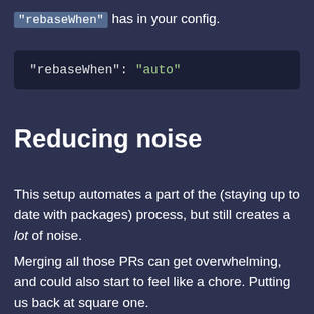"rebaseWhen" has in your config.
[Figure (screenshot): Code block showing: "rebaseWhen": "auto"]
Reducing noise
This setup automates a part of the (staying up to date with packages) process, but still creates a lot of noise.
Merging all those PRs can get overwhelming, and could also start to feel like a chore. Putting us back at square one.